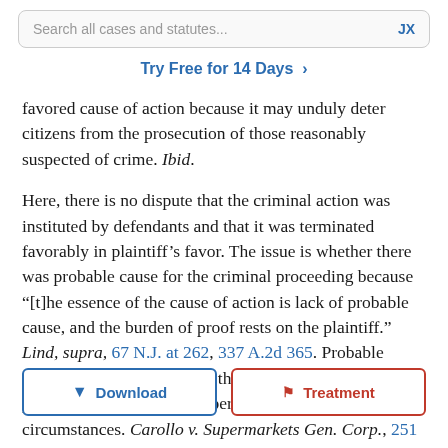[Figure (screenshot): Search bar with placeholder text 'Search all cases and statutes...' and 'JX' label on right]
Try Free for 14 Days >
favored cause of action because it may unduly deter citizens from the prosecution of those reasonably suspected of crime. Ibid.
Here, there is no dispute that the criminal action was instituted by defendants and that it was terminated favorably in plaintiff’s favor. The issue is whether there was probable cause for the criminal proceeding because “[t]he essence of the cause of action is lack of probable cause, and the burden of proof rests on the plaintiff.” Lind, supra, 67 N.J. at 262, 337 A.2d 365. Probable cause must be measured by the objective standard of the perception of a reasonable person and in like circumstances. Carollo v. Supermarkets Gen. Corp., 251
[Figure (screenshot): Two UI buttons: 'Download' with blue border and arrow icon, and 'Treatment' with red border and flag icon]